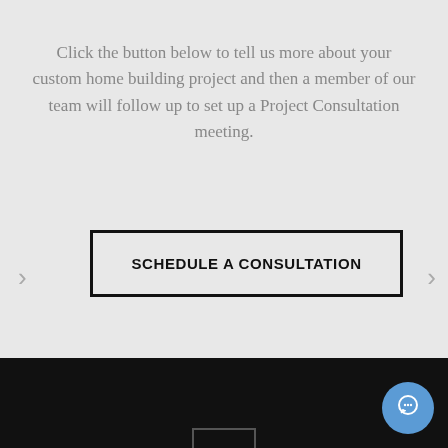Click the button below to tell us more about your custom home building project and then a member of our team will follow up to set up a Project Consultation meeting.
SCHEDULE A CONSULTATION
[Figure (screenshot): Chat widget button in lower right corner of dark footer area, circular blue button with speech bubble icon]